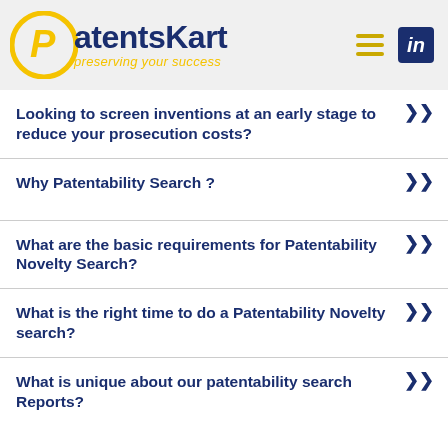[Figure (logo): PatentsKart logo with yellow circle, P letter, and tagline 'preserving your success']
Looking to screen inventions at an early stage to reduce your prosecution costs?
Why Patentability Search ?
What are the basic requirements for Patentability Novelty Search?
What is the right time to do a Patentability Novelty search?
What is unique about our patentability search Reports?